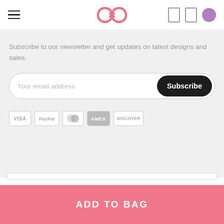Navigation header with hamburger menu, infinity logo, and icons
Subscribe to our newsletter and get updates on latest designs and sales.
[Figure (screenshot): Email subscription form with placeholder 'Your email address' and a black rounded 'Subscribe' button]
[Figure (screenshot): Payment method icons: VISA, PayPal, Mastercard, AMEX, Discover]
ADD TO BAG